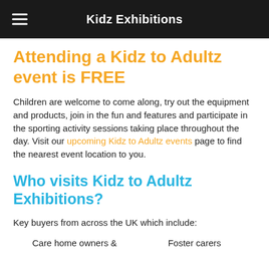Kidz Exhibitions
Attending a Kidz to Adultz event is FREE
Children are welcome to come along, try out the equipment and products, join in the fun and features and participate in the sporting activity sessions taking place throughout the day. Visit our upcoming Kidz to Adultz events page to find the nearest event location to you.
Who visits Kidz to Adultz Exhibitions?
Key buyers from across the UK which include:
Care home owners &
Foster carers